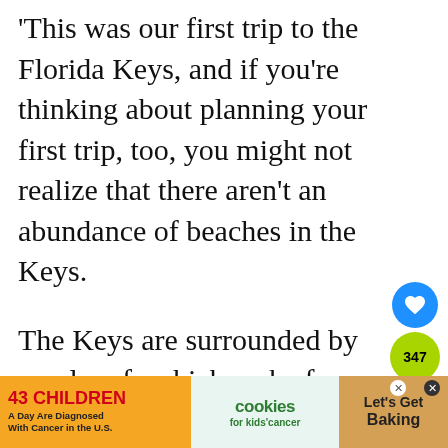This was our first trip to the Florida Keys, and if you’re thinking about planning your first trip, too, you might not realize that there aren’t an abundance of beaches in the Keys.
The Keys are surrounded by coral reefs which make for awesome diving, but does not make for wide sandy beaches. That doesn’t mean
[Figure (other): Social media UI elements: heart/like button (blue circle), share count badge showing 347 (green circle), and share button (green circle with share icon)]
[Figure (other): Advertisement banner: '43 CHILDREN A Day Are Diagnosed With Cancer in the U.S.' on orange background, 'cookies for kids cancer' logo in center, 'Let's Get Baking' on right with cookie image]